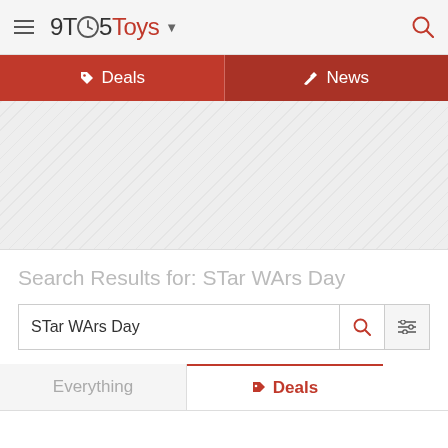9TO5Toys
Deals | News
[Figure (other): Advertisement placeholder area with diagonal striped pattern]
Search Results for: STar WArs Day
STar WArs Day
Everything | Deals